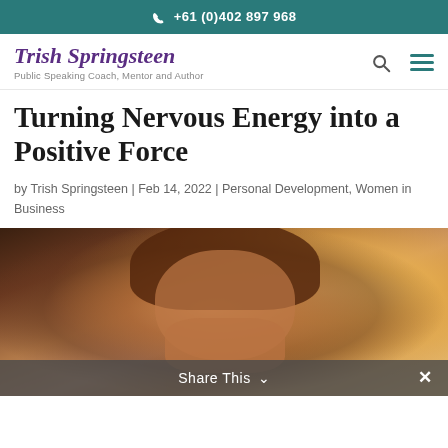+61 (0)402 897 968
[Figure (logo): Trish Springsteen logo with tagline 'Public Speaking Coach, Mentor and Author']
Turning Nervous Energy into a Positive Force
by Trish Springsteen | Feb 14, 2022 | Personal Development, Women in Business
[Figure (photo): A woman with curly auburn hair, eyes closed, hands clasped near her face in a contemplative or stressed pose, with warm backlit light behind her.]
Share This